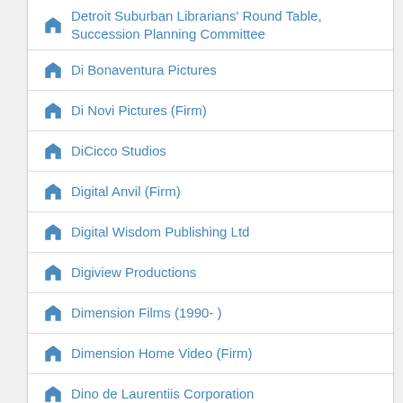Detroit Suburban Librarians' Round Table, Succession Planning Committee
Di Bonaventura Pictures
Di Novi Pictures (Firm)
DiCicco Studios
Digital Anvil (Firm)
Digital Wisdom Publishing Ltd
Digiview Productions
Dimension Films (1990- )
Dimension Home Video (Firm)
Dino de Laurentiis Corporation
Direct Holdings Americas, Inc